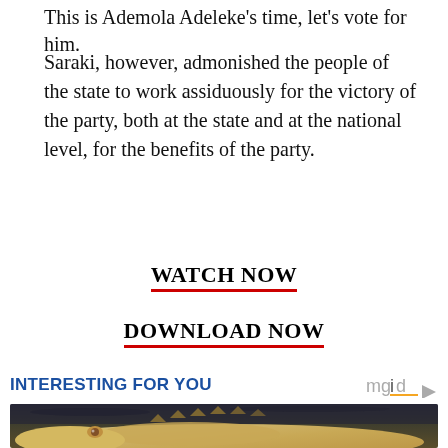This is Ademola Adeleke's time, let's vote for him.
Saraki, however, admonished the people of the state to work assiduously for the victory of the party, both at the state and at the national level, for the benefits of the party.
WATCH NOW
DOWNLOAD NOW
INTERESTING FOR YOU
[Figure (photo): Photo of a white/albino crocodile or alligator close-up, showing its pale yellowish-white scaly skin and eye, against a dark water background.]